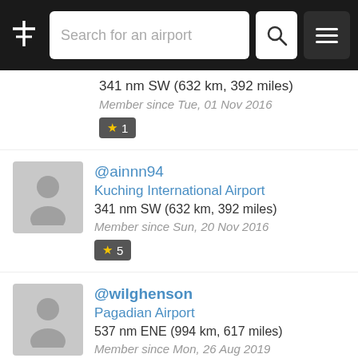Search for an airport
341 nm SW (632 km, 392 miles)
Member since Tue, 01 Nov 2016
★ 1
@ainnn94
Kuching International Airport
341 nm SW (632 km, 392 miles)
Member since Sun, 20 Nov 2016
★ 5
@wilghenson
Pagadian Airport
537 nm ENE (994 km, 617 miles)
Member since Mon, 26 Aug 2019
★ 1
@badz 🎧
Maria Cristina Airport